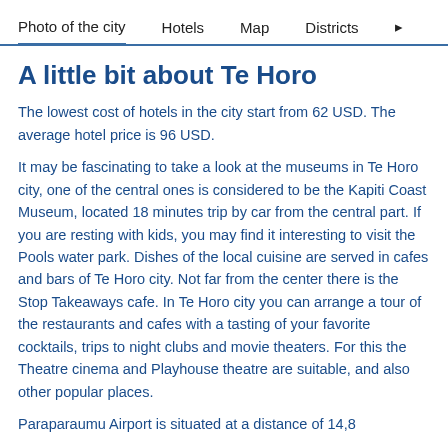Photo of the city   Hotels   Map   Districts
A little bit about Te Horo
The lowest cost of hotels in the city start from 62 USD. The average hotel price is 96 USD.
It may be fascinating to take a look at the museums in Te Horo city, one of the central ones is considered to be the Kapiti Coast Museum, located 18 minutes trip by car from the central part. If you are resting with kids, you may find it interesting to visit the Pools water park. Dishes of the local cuisine are served in cafes and bars of Te Horo city. Not far from the center there is the Stop Takeaways cafe. In Te Horo city you can arrange a tour of the restaurants and cafes with a tasting of your favorite cocktails, trips to night clubs and movie theaters. For this the Theatre cinema and Playhouse theatre are suitable, and also other popular places.
Paraparaumu Airport is situated at a distance of 14,8